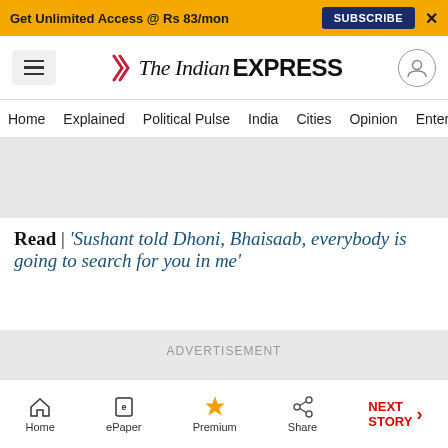Get Unlimited Access @ Rs 83/mon   SUBSCRIBE   X
[Figure (logo): The Indian Express logo with hamburger menu and user icon]
Home  Explained  Political Pulse  India  Cities  Opinion  Entertainment
Read | 'Sushant told Dhoni, Bhaisaab, everybody is going to search for you in me'
ADVERTISEMENT
Home   ePaper   Premium   Share   NEXT STORY →